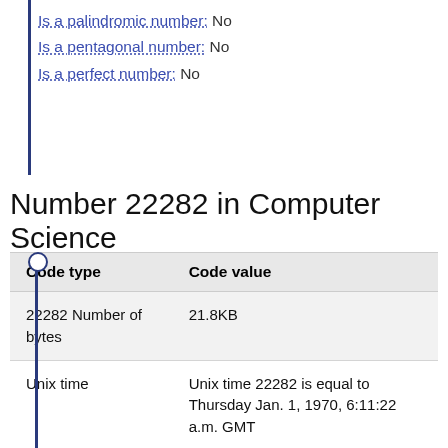Is a palindromic number: No
Is a pentagonal number: No
Is a perfect number: No
Number 22282 in Computer Science
| Code type | Code value |
| --- | --- |
| 22282 Number of bytes | 21.8KB |
| Unix time | Unix time 22282 is equal to Thursday Jan. 1, 1970, 6:11:22 a.m. GMT |
| IPv4, IPv6 | Number 22282 internet address in dotted format v4 0.0.87.10, v6 |